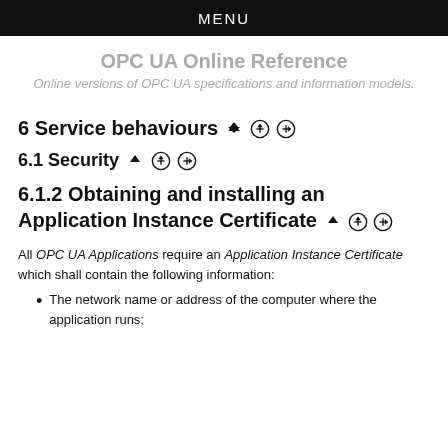MENU
OPC UA Online Reference
Online versions of OPC UA specifications and information models.
6 Service behaviours ↑ ⊕ ⊕
6.1 Security ↑ ⊕ ⊕
6.1.2 Obtaining and installing an Application Instance Certificate ↑ ⊕ ⊕
All OPC UA Applications require an Application Instance Certificate which shall contain the following information:
The network name or address of the computer where the application runs;